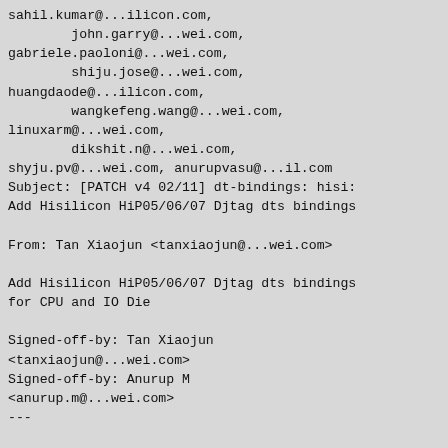sahil.kumar@...ilicon.com,
        john.garry@...wei.com,
gabriele.paoloni@...wei.com,
        shiju.jose@...wei.com,
huangdaode@...ilicon.com,
        wangkefeng.wang@...wei.com,
linuxarm@...wei.com,
        dikshit.n@...wei.com,
shyju.pv@...wei.com, anurupvasu@...il.com
Subject: [PATCH v4 02/11] dt-bindings: hisi:
Add Hisilicon HiP05/06/07 Djtag dts bindings

From: Tan Xiaojun <tanxiaojun@...wei.com>

Add Hisilicon HiP05/06/07 Djtag dts bindings
for CPU and IO Die

Signed-off-by: Tan Xiaojun
<tanxiaojun@...wei.com>
Signed-off-by: Anurup M
<anurup.m@...wei.com>
---

.../devicetree/bindings/arm/hisilicon/djtag.tx
| 51 +++++++++++++++++++++
...